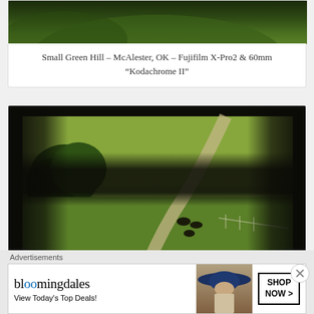[Figure (photo): Top portion of a green hill landscape photo, showing rolling green hills and grass, cropped at the top of the frame.]
Small Green Hill – McAlester, OK – Fujifilm X-Pro2 & 60mm “Kodachrome II”
[Figure (photo): Photo viewed through a window or barn slats showing a rural farm scene with cattle walking along a winding dirt road through green fields, trees on the left, fencing on the right.]
Advertisements
[Figure (other): Bloomingdale's advertisement banner reading 'View Today's Top Deals!' with a woman in a large blue hat and a 'SHOP NOW >' button.]